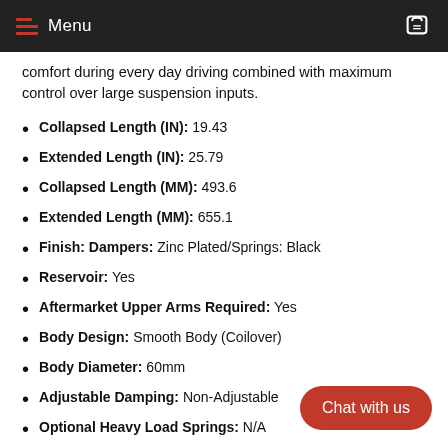Menu
comfort during every day driving combined with maximum control over large suspension inputs.
Collapsed Length (IN): 19.43
Extended Length (IN): 25.79
Collapsed Length (MM): 493.6
Extended Length (MM): 655.1
Finish: Dampers: Zinc Plated/Springs: Black
Reservoir: Yes
Aftermarket Upper Arms Required: Yes
Body Design: Smooth Body (Coilover)
Body Diameter: 60mm
Adjustable Damping: Non-Adjustable
Optional Heavy Load Springs: N/A
Notes: